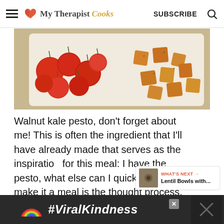My Therapist Cooks | SUBSCRIBE
[Figure (photo): Overhead view of roasted cherry tomatoes and cubed vegetables on a white baking dish]
Walnut kale pesto, don't forget about me! This is often the ingredient that I'll have already made that serves as the inspiration for this meal: I have the pesto, what else can I quickly cook to make it a meal is the thought process.
[Figure (infographic): What's Next widget showing Lentil Bowls with... thumbnail]
[Figure (infographic): Ad banner with rainbow graphic and #ViralKindness text on dark background]